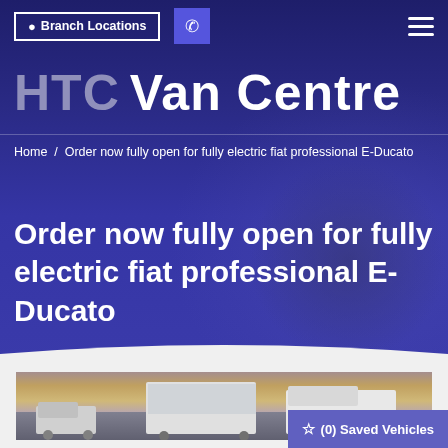Branch Locations  |  [phone icon]  |  [menu icon]
HTC Van Centre
Home / Order now fully open for fully electric fiat professional E-Ducato
Order now fully open for fully electric fiat professional E-Ducato
[Figure (photo): Row of white vans and trucks photographed against a dramatic sunset/dusk sky with purple and orange tones]
(0) Saved Vehicles